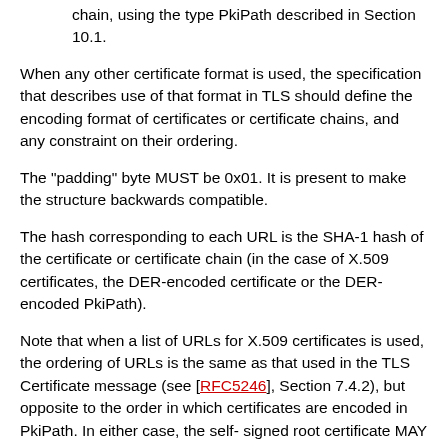single URL referring to a DER-encoded certificate chain, using the type PkiPath described in Section 10.1.
When any other certificate format is used, the specification that describes use of that format in TLS should define the encoding format of certificates or certificate chains, and any constraint on their ordering.
The "padding" byte MUST be 0x01. It is present to make the structure backwards compatible.
The hash corresponding to each URL is the SHA-1 hash of the certificate or certificate chain (in the case of X.509 certificates, the DER-encoded certificate or the DER-encoded PkiPath).
Note that when a list of URLs for X.509 certificates is used, the ordering of URLs is the same as that used in the TLS Certificate message (see [RFC5246], Section 7.4.2), but opposite to the order in which certificates are encoded in PkiPath. In either case, the self- signed root certificate MAY